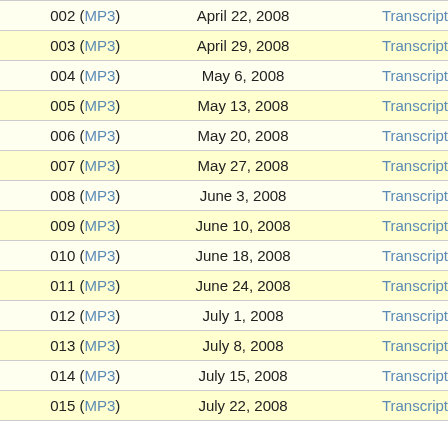| Episode | Date | Transcript |
| --- | --- | --- |
| 002 (MP3) | April 22, 2008 | Transcript |
| 003 (MP3) | April 29, 2008 | Transcript |
| 004 (MP3) | May 6, 2008 | Transcript |
| 005 (MP3) | May 13, 2008 | Transcript |
| 006 (MP3) | May 20, 2008 | Transcript |
| 007 (MP3) | May 27, 2008 | Transcript |
| 008 (MP3) | June 3, 2008 | Transcript |
| 009 (MP3) | June 10, 2008 | Transcript |
| 010 (MP3) | June 18, 2008 | Transcript |
| 011 (MP3) | June 24, 2008 | Transcript |
| 012 (MP3) | July 1, 2008 | Transcript |
| 013 (MP3) | July 8, 2008 | Transcript |
| 014 (MP3) | July 15, 2008 | Transcript |
| 015 (MP3) | July 22, 2008 | Transcript |